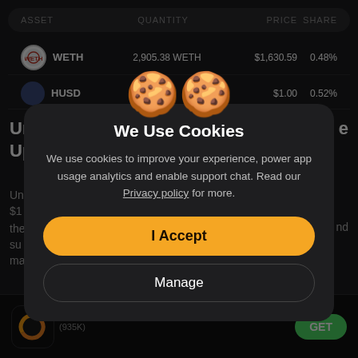| ASSET | QUANTITY | PRICE | SHARE |
| --- | --- | --- | --- |
| WETH | 2,905.38 WETH | $1,630.59 | 0.48% |
| HUSD | 50... | $1.00 | 0.52% |
[Figure (screenshot): Cookie consent modal dialog with cookie emoji illustration, title 'We Use Cookies', descriptive text about cookie usage, an orange 'I Accept' button, and a 'Manage' button, overlaid on a dark-themed crypto asset tracker app.]
We Use Cookies
We use cookies to improve your experience, power app usage analytics and enable support chat. Read our Privacy policy for more.
I Accept
Manage